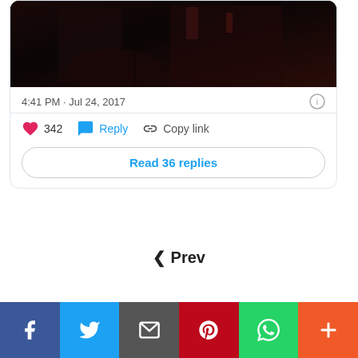[Figure (screenshot): Dark screenshot embedded in a tweet card showing a dimly lit scene]
4:41 PM · Jul 24, 2017
342  Reply  Copy link
Read 36 replies
◀ Prev
[Figure (infographic): Social sharing bar with Facebook, Twitter, Email, Pinterest, WhatsApp, and More buttons]